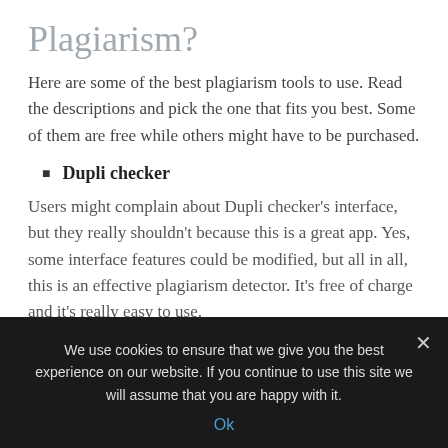Plagiarism?
Here are some of the best plagiarism tools to use. Read the descriptions and pick the one that fits you best. Some of them are free while others might have to be purchased.
Dupli checker
Users might complain about Dupli checker's interface, but they really shouldn't because this is a great app. Yes, some interface features could be modified, but all in all, this is an effective plagiarism detector. It's free of charge and it's really easy to use.
Copyleaks
We use cookies to ensure that we give you the best experience on our website. If you continue to use this site we will assume that you are happy with it. Ok